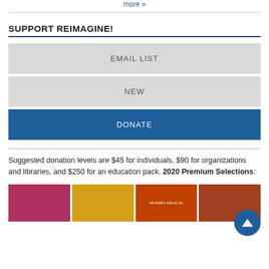more »
SUPPORT REIMAGINE!
EMAIL LIST
NEW
DONATE
Suggested donation levels are $45 for individuals, $90 for organizations and libraries, and $250 for an education pack. 2020 Premium Selections:
[Figure (photo): Row of four book/magazine covers: a pink cover with illustrated figures, a yellow cover with circular design, an orange cover titled 'Mujeres Mágicas', and a dark cover with a figure.]